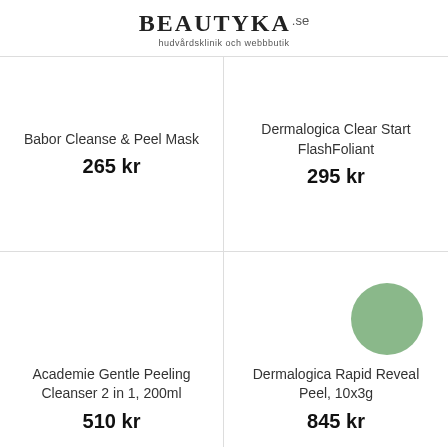BEAUTYKA.se hudvårdsklinik och webbbutik
Babor Cleanse & Peel Mask
265 kr
Dermalogica Clear Start FlashFoliant
295 kr
[Figure (other): Empty product image area for Academie Gentle Peeling Cleanser]
Academie Gentle Peeling Cleanser 2 in 1, 200ml
510 kr
[Figure (other): Green circle representing product image for Dermalogica Rapid Reveal Peel]
Dermalogica Rapid Reveal Peel, 10x3g
845 kr